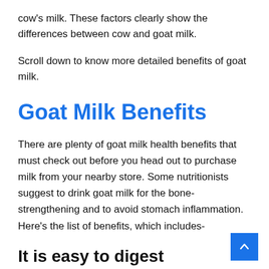cow's milk. These factors clearly show the differences between cow and goat milk.
Scroll down to know more detailed benefits of goat milk.
Goat Milk Benefits
There are plenty of goat milk health benefits that must check out before you head out to purchase milk from your nearby store. Some nutritionists suggest to drink goat milk for the bone-strengthening and to avoid stomach inflammation. Here's the list of benefits, which includes-
It is easy to digest
Experts say that goat milk constitutes small fat particles